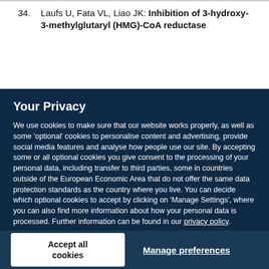34.  Laufs U, Fata VL, Liao JK: Inhibition of 3-hydroxy-3-methylglutaryl (HMG)-CoA reductase
Your Privacy
We use cookies to make sure that our website works properly, as well as some 'optional' cookies to personalise content and advertising, provide social media features and analyse how people use our site. By accepting some or all optional cookies you give consent to the processing of your personal data, including transfer to third parties, some in countries outside of the European Economic Area that do not offer the same data protection standards as the country where you live. You can decide which optional cookies to accept by clicking on 'Manage Settings', where you can also find more information about how your personal data is processed. Further information can be found in our privacy policy.
Accept all cookies
Manage preferences